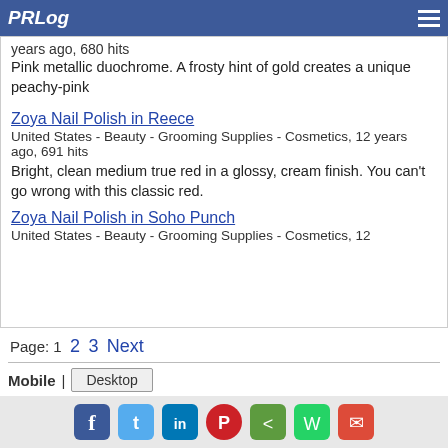PRLog
years ago, 680 hits
Pink metallic duochrome. A frosty hint of gold creates a unique peachy-pink
Zoya Nail Polish in Reece
United States - Beauty - Grooming Supplies - Cosmetics, 12 years ago, 691 hits
Bright, clean medium true red in a glossy, cream finish. You can't go wrong with this classic red.
Zoya Nail Polish in Soho Punch
United States - Beauty - Grooming Supplies - Cosmetics, 12
Page: 1  2  3  Next
Mobile | Desktop
Home | Latest Press Releases | Get Feeds | Get Alerted | For Bloggers | PR Newswire Distribution | Privacy | TOS | Contact | Copyright | About